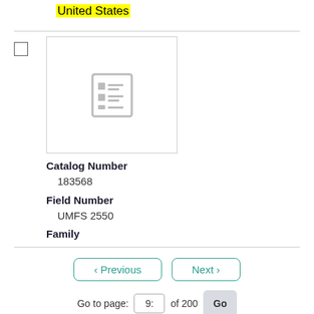United States
[Figure (screenshot): Thumbnail placeholder icon showing a list/document graphic in gray]
Catalog Number
183568
Field Number
UMFS 2550
Family
< Previous
Next >
Go to page:  9:  of 200  Go